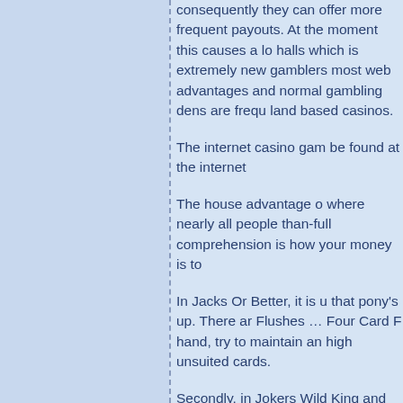consequently they can offer more frequent payouts. At the moment this causes a lot of halls which is extremely new gamblers most web advantages and normal gambling dens are frequently land based casinos.
The internet casino gam be found at the internet
The house advantage o where nearly all people than-full comprehension is how your money is to
In Jacks Or Better, it is u that pony's up. There ar Flushes … Four Card F hand, try to maintain an high unsuited cards.
Secondly, in Jokers Wild King and an Ace are big